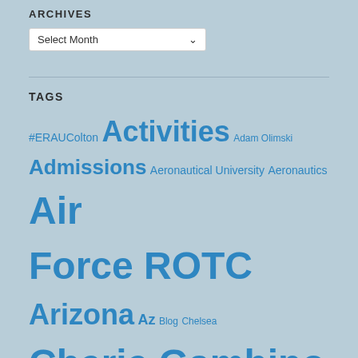ARCHIVES
Select Month
TAGS
#ERAUColton Activities Adam Olimski Admissions Aeronautical University Aeronautics Air Force ROTC Arizona Az Blog Chelsea Cherie Gambino classes clubs College colton community service decisions Electrical Engineering Embry-Riddle Embry Riddle Prescott AZ Engineering ERAU ERAU flight Freshman